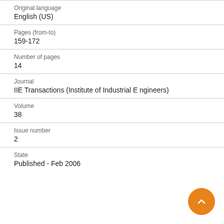Original language
English (US)
Pages (from-to)
159-172
Number of pages
14
Journal
IIE Transactions (Institute of Industrial Engineers)
Volume
38
Issue number
2
State
Published - Feb 2006